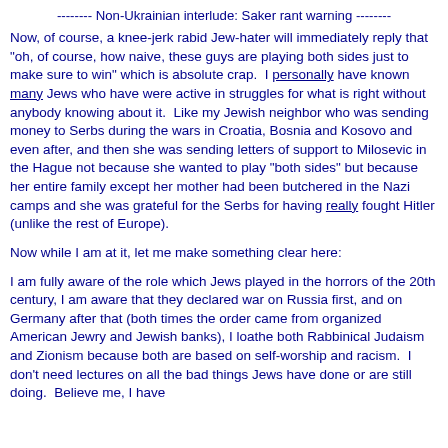-------- Non-Ukrainian interlude: Saker rant warning --------
Now, of course, a knee-jerk rabid Jew-hater will immediately reply that "oh, of course, how naive, these guys are playing both sides just to make sure to win" which is absolute crap.  I personally have known many Jews who have were active in struggles for what is right without anybody knowing about it.  Like my Jewish neighbor who was sending money to Serbs during the wars in Croatia, Bosnia and Kosovo and even after, and then she was sending letters of support to Milosevic in the Hague not because she wanted to play "both sides" but because her entire family except her mother had been butchered in the Nazi camps and she was grateful for the Serbs for having really fought Hitler (unlike the rest of Europe).
Now while I am at it, let me make something clear here:
I am fully aware of the role which Jews played in the horrors of the 20th century, I am aware that they declared war on Russia first, and on Germany after that (both times the order came from organized American Jewry and Jewish banks), I loathe both Rabbinical Judaism and Zionism because both are based on self-worship and racism.  I don't need lectures on all the bad things Jews have done or are still doing.  Believe me, I have